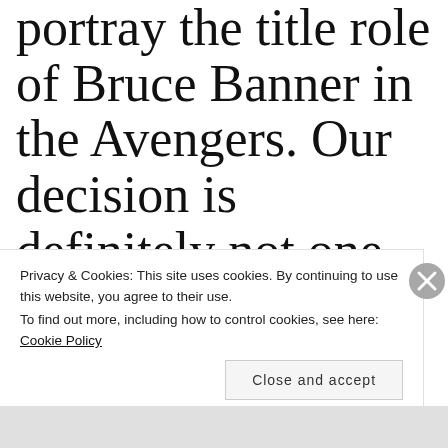portray the title role of Bruce Banner in the Avengers. Our decision is definitely not one based on monetary factors, but instead rooted in
Privacy & Cookies: This site uses cookies. By continuing to use this website, you agree to their use.
To find out more, including how to control cookies, see here: Cookie Policy
Close and accept